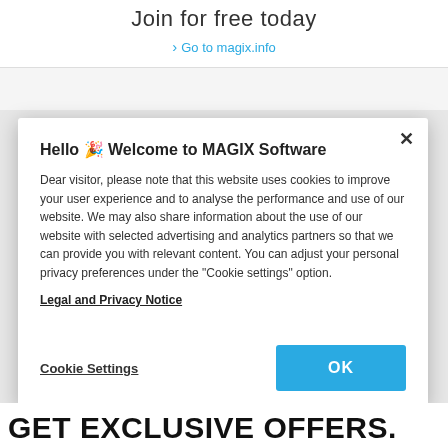Join for free today
> Go to magix.info
Hello 🎉 Welcome to MAGIX Software

Dear visitor, please note that this website uses cookies to improve your user experience and to analyse the performance and use of our website. We may also share information about the use of our website with selected advertising and analytics partners so that we can provide you with relevant content. You can adjust your personal privacy preferences under the "Cookie settings" option.
Legal and Privacy Notice
Cookie Settings
OK
GET EXCLUSIVE OFFERS.